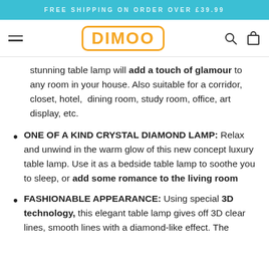FREE SHIPPING ON ORDER OVER £39.99
[Figure (logo): DIMOO logo in orange with rounded rectangle border, hamburger menu on left, search and cart icons on right]
stunning table lamp will add a touch of glamour to any room in your house. Also suitable for a corridor, closet, hotel, dining room, study room, office, art display, etc.
ONE OF A KIND CRYSTAL DIAMOND LAMP: Relax and unwind in the warm glow of this new concept luxury table lamp. Use it as a bedside table lamp to soothe you to sleep, or add some romance to the living room
FASHIONABLE APPEARANCE: Using special 3D technology, this elegant table lamp gives off 3D clear lines, smooth lines with a diamond-like effect. The